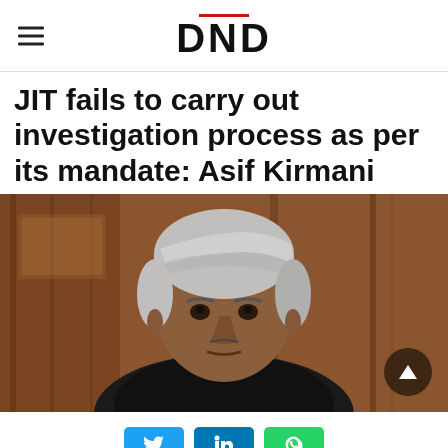DND
JIT fails to carry out investigation process as per its mandate: Asif Kirmani
[Figure (photo): Portrait photo of Asif Kirmani, a man with grey hair wearing a black suit, seated in front of wooden paneling.]
Social share buttons: Twitter, LinkedIn, WhatsApp